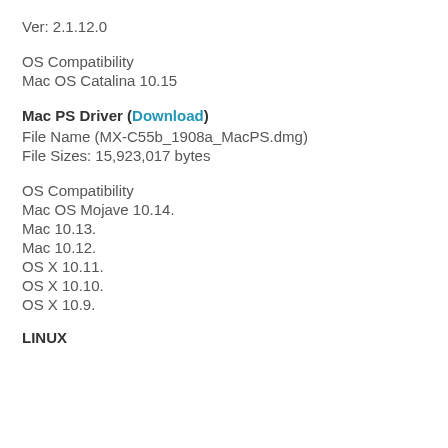Ver: 2.1.12.0
OS Compatibility
Mac OS Catalina 10.15
Mac PS Driver (Download)
File Name (MX-C55b_1908a_MacPS.dmg)
File Sizes: 15,923,017 bytes
OS Compatibility
Mac OS Mojave 10.14.
Mac 10.13.
Mac 10.12.
OS X 10.11.
OS X 10.10.
OS X 10.9.
LINUX